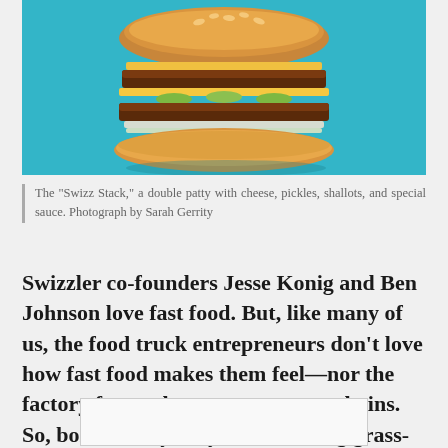[Figure (photo): A burger called the 'Swizz Stack' — a double patty with cheese, pickles, shallots, and special sauce — photographed against a bright cyan/blue background.]
The "Swizz Stack," a double patty with cheese, pickles, shallots, and special sauce. Photograph by Sarah Gerrity
Swizzler co-founders Jesse Konig and Ben Johnson love fast food. But, like many of us, the food truck entrepreneurs don't love how fast food makes them feel—nor the factory farms that support mega-chains. So, bolstered by six years of selling grass-fed beef hot dogs and burgers on the road, the Swizzler crew is ready